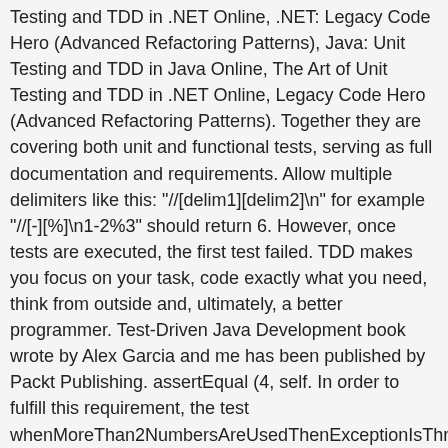Testing and TDD in .NET Online, .NET: Legacy Code Hero (Advanced Refactoring Patterns), Java: Unit Testing and TDD in Java Online, The Art of Unit Testing and TDD in .NET Online, Legacy Code Hero (Advanced Refactoring Patterns). Together they are covering both unit and functional tests, serving as full documentation and requirements. Allow multiple delimiters like this: "//[delim1][delim2]\n" for example "//[-][%]\n1-2%3" should return 6. However, once tests are executed, the first test failed. TDD makes you focus on your task, code exactly what you need, think from outside and, ultimately, a better programmer. Test-Driven Java Development book wrote by Alex Garcia and me has been published by Packt Publishing. assertEqual (4, self. In order to fulfill this requirement, the test whenMoreThan2NumbersAreUsedThenExceptionIsThrown needed to be removed. Example "//[-][%]\n1-2%3" should return 6. Test Driven Development (TDD) is software development approach in which test cases are developed to specify and validate what the